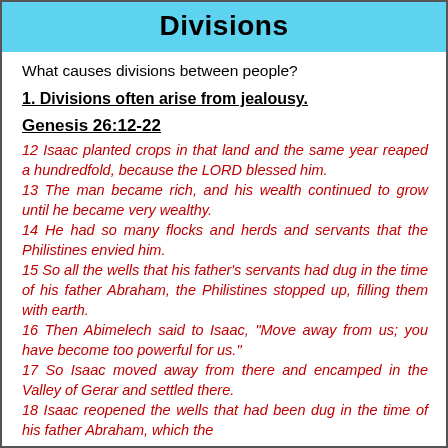Divisions
What causes divisions between people?
1. Divisions often arise from jealousy.
Genesis 26:12-22
12 Isaac planted crops in that land and the same year reaped a hundredfold, because the LORD blessed him. 13 The man became rich, and his wealth continued to grow until he became very wealthy. 14 He had so many flocks and herds and servants that the Philistines envied him. 15 So all the wells that his father's servants had dug in the time of his father Abraham, the Philistines stopped up, filling them with earth. 16 Then Abimelech said to Isaac, "Move away from us; you have become too powerful for us." 17 So Isaac moved away from there and encamped in the Valley of Gerar and settled there. 18 Isaac reopened the wells that had been dug in the time of his father Abraham, which the